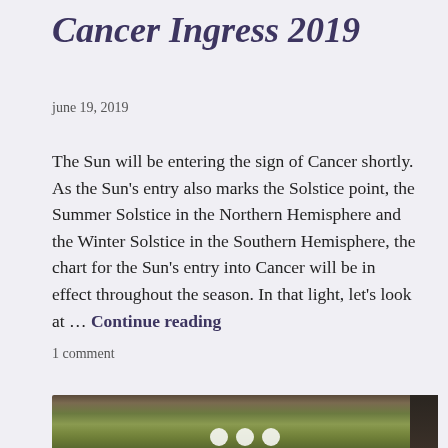Cancer Ingress 2019
june 19, 2019
The Sun will be entering the sign of Cancer shortly. As the Sun's entry also marks the Solstice point, the Summer Solstice in the Northern Hemisphere and the Winter Solstice in the Southern Hemisphere, the chart for the Sun's entry into Cancer will be in effect throughout the season. In that light, let's look at … Continue reading
1 comment
[Figure (photo): Outdoor nature photograph showing blurred green foliage and dark rocky or wooden elements, partially visible at the bottom of the page]